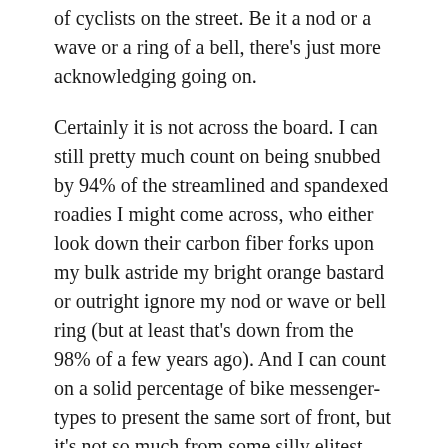of cyclists on the street. Be it a nod or a wave or a ring of a bell, there's just more acknowledging going on.
Certainly it is not across the board. I can still pretty much count on being snubbed by 94% of the streamlined and spandexed roadies I might come across, who either look down their carbon fiber forks upon my bulk astride my bright orange bastard or outright ignore my nod or wave or bell ring (but at least that's down from the 98% of a few years ago). And I can count on a solid percentage of bike messenger-types to present the same sort of front, but it's not so much from some silly elitest angle as it is from one of stripped-down daredevil authenticity.
Regardless of where a rider's or my prejudices might lie I do my best to include all in the grand